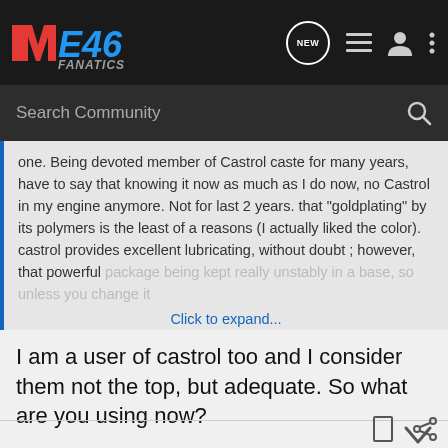IIE46 FANATICS - navigation bar with NEW badge, list icon, user icon, more icon
Search Community
one. Being devoted member of Castrol caste for many years, have to say that knowing it now as much as I do now, no Castrol in my engine anymore. Not for last 2 years. that "goldplating" by its polymers is the least of a reasons (I actually liked the color). castrol provides excellent lubricating, without doubt ; however, that powerful package being kept really unstably in a base, so unless you change it Click to expand...
I am a user of castrol too and I consider them not the top, but adequate. So what are you using now?